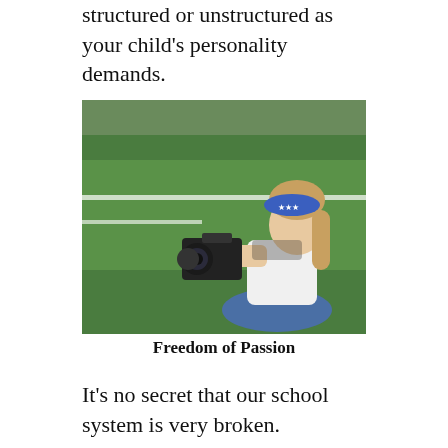structured or unstructured as your child's personality demands.
[Figure (photo): A young girl with a blue star-patterned headband sitting on green turf/grass, holding a DSLR camera up to her eye as if taking a photograph. She is wearing a white top and blue jeans.]
Freedom of Passion
It’s no secret that our school system is very broken.